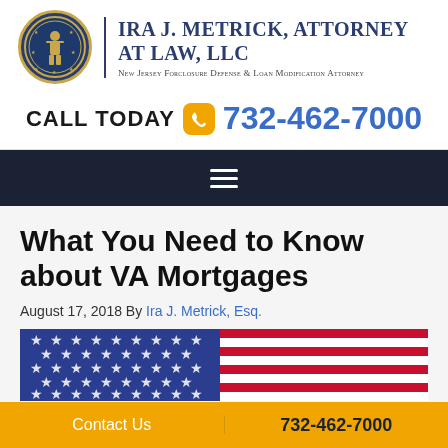Ira J. Metrick, Attorney at Law, LLC — New Jersey Foreclosure Defense & Loan Modification Attorney
CALL TODAY 732-462-7000
What You Need to Know about VA Mortgages
August 17, 2018 By Ira J. Metrick, Esq.
[Figure (photo): American flag image showing stars and stripes]
Contact Us | 732-462-7000